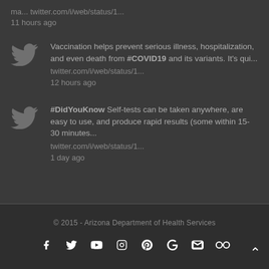ma... twitter.com/i/web/status/1...
11 hours ago
Vaccination helps prevent serious illness, hospitalization, and even death from #COVID19 and its variants. It's qui...
twitter.com/i/web/status/1...
12 hours ago
#DidYouKnow Self-tests can be taken anywhere, are easy to use, and produce rapid results (some within 15-30 minutes...
twitter.com/i/web/status/1...
1 day ago
© 2015 - Arizona Department of Health Services